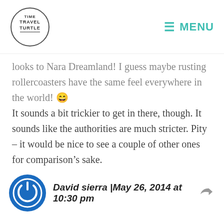TIME TRAVEL TURTLE | MENU
looks to Nara Dreamland! I guess maybe rusting rollercoasters have the same feel everywhere in the world! 🙂 It sounds a bit trickier to get in there, though. It sounds like the authorities are much stricter. Pity – it would be nice to see a couple of other ones for comparison's sake.
David sierra | May 26, 2014 at 10:30 pm
Love the photos! Am Going to Japan later this year and plan to cycle a lot of Kyoto and Nara. Apparently there is a great bike path. For one